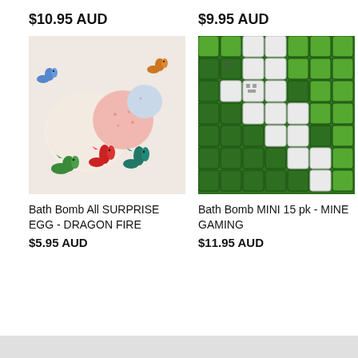$10.95 AUD
$9.95 AUD
[Figure (photo): Bath bombs and small plastic dragon figurines (green, red, teal, blue, orange) on white background]
[Figure (photo): Minecraft-themed bath bomb mini blocks in green, dark green, and white arranged in a pixel art pattern]
Bath Bomb All SURPRISE EGG - DRAGON FIRE
$5.95 AUD
Bath Bomb MINI 15 pk - MINE GAMING
$11.95 AUD